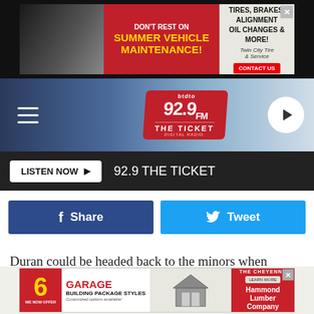[Figure (screenshot): Top advertisement banner: 'DON'T REST ON SUMMER VEHICLE MAINTENANCE! TIRES, BRAKES, ALIGNMENT OIL CHANGES & MORE! Twin City Tire & Service - CONTACT US']
[Figure (screenshot): 92.9 FM The Ticket radio station navigation bar with hamburger menu, station logo, and play button]
[Figure (screenshot): Listen Now button bar with '92.9 THE TICKET' station name]
[Figure (screenshot): Facebook Share and Twitter Tweet social sharing buttons]
Duran could be headed back to the minors when Christian Arroyo and Kiké Hernández return from the injured list.
[Figure (screenshot): Bottom advertisement: '6 GARAGE BUILDING PACKAGE STYLES - WE NOW OFFER - Customized options available! THE CHEYENNE - LEARN MORE - Hammond Lumber Company']